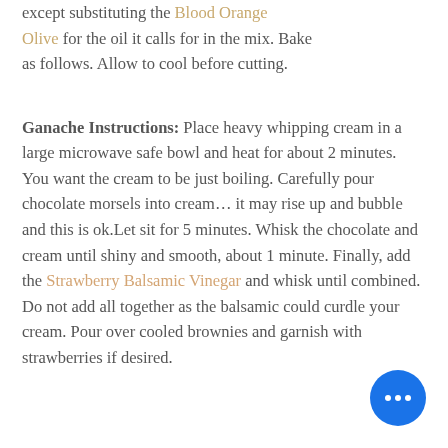except substituting the Blood Orange Olive for the oil it calls for in the mix. Bake as follows. Allow to cool before cutting.
Ganache Instructions: Place heavy whipping cream in a large microwave safe bowl and heat for about 2 minutes. You want the cream to be just boiling. Carefully pour chocolate morsels into cream… it may rise up and bubble and this is ok.Let sit for 5 minutes. Whisk the chocolate and cream until shiny and smooth, about 1 minute. Finally, add the Strawberry Balsamic Vinegar and whisk until combined. Do not add all together as the balsamic could curdle your cream. Pour over cooled brownies and garnish with strawberries if desired.